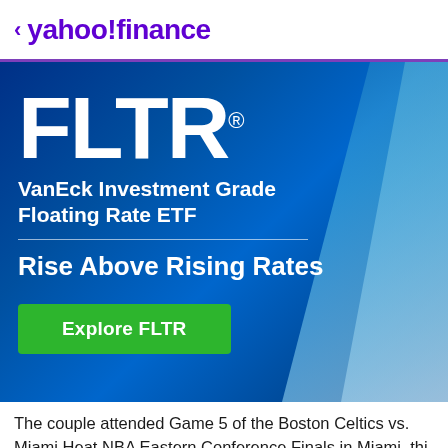< yahoo!finance
[Figure (infographic): FLTR VanEck Investment Grade Floating Rate ETF advertisement banner on a dark blue background with light blue geometric shapes. Features large white FLTR® ticker symbol, product name, tagline 'Rise Above Rising Rates', and a green 'Explore FLTR' button.]
The couple attended Game 5 of the Boston Celtics vs. Miami Heat NBA Eastern Conference Finals in Miami, thi...